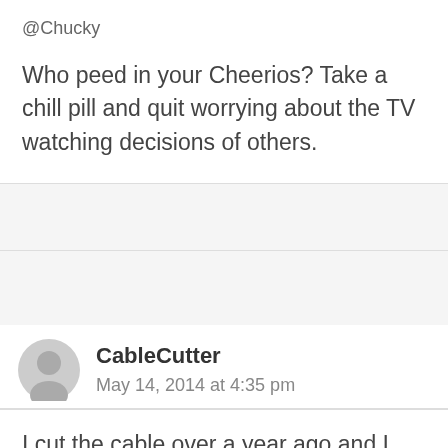@Chucky
Who peed in your Cheerios? Take a chill pill and quit worrying about the TV watching decisions of others.
CableCutter
May 14, 2014 at 4:35 pm
I cut the cable over a year ago and I don't miss it. I've got more HD channels from OTA than I got with cable, plus I got multiple Roku boxes